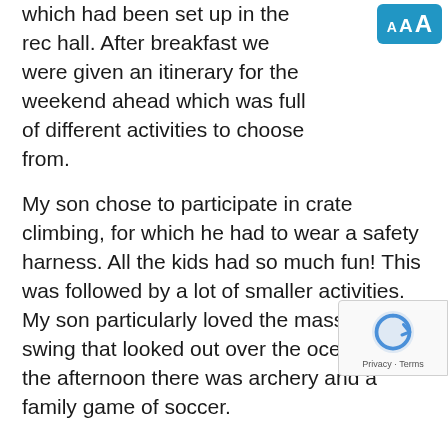which had been set up in the rec hall. After breakfast we were given an itinerary for the weekend ahead which was full of different activities to choose from.
My son chose to participate in crate climbing, for which he had to wear a safety harness. All the kids had so much fun! This was followed by a lot of smaller activities. My son particularly loved the massive swing that looked out over the ocean. In the afternoon there was archery and a family game of soccer.
There were a lot of activities happening during the day, some that my son didn't participate in, but that was okay and we never felt pressured into doing something we didn't want to do.